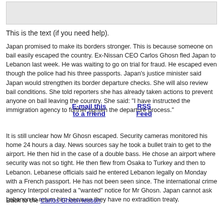[Figure (other): Gray rectangle box at top of page]
This is the text (if you need help).
Japan promised to make its borders stronger. This is because someone on bail easily escaped the country. Ex-Nissan CEO Carlos Ghosn fled Japan to Lebanon last week. He was waiting to go on trial for fraud. He escaped even though the police had his three passports. Japan's justice minister said Japan would strengthen its border departure checks. She will also review bail conditions. She told reporters she has already taken actions to prevent anyone on bail leaving the country. She said: "I have instructed the immigration agency to further tighten the departure process."
E-mail this to a friend    RSS Feed
It is still unclear how Mr Ghosn escaped. Security cameras monitored his home 24 hours a day. News sources say he took a bullet train to get to the airport. He then hid in the case of a double bass. He chose an airport where security was not so tight. He then flew from Osaka to Turkey and then to Lebanon. Lebanese officials said he entered Lebanon legally on Monday with a French passport. He has not been seen since. The international crime agency Interpol created a "wanted" notice for Mr Ghosn. Japan cannot ask Lebanon to return him because they have no extradition treaty.
Back to the Carlos Ghosn lesson.